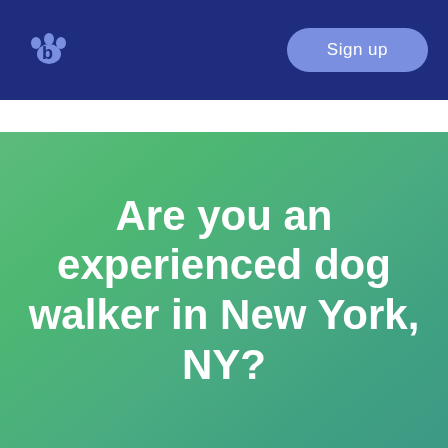[Figure (logo): Barkly or pet service app logo: a blue paw print with a curved 'b' shape on a dark navy background, top-left of navbar]
Sign up
Are you an experienced dog walker in New York, NY?